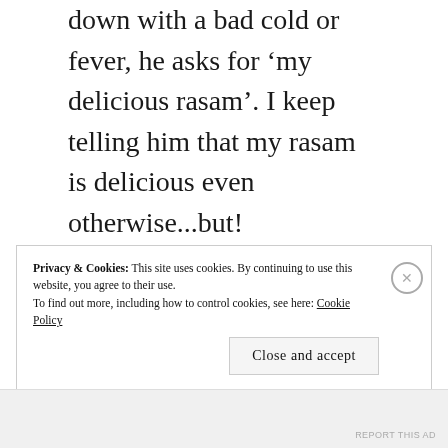down with a bad cold or fever, he asks for 'my delicious rasam'. I keep telling him that my rasam is delicious even otherwise...but!
When I think about it, this Rasam debate in our home epitomises marriage. Two different people, with different tastes, who learn to live together and compromise on many things, but don't on a few things...and
Privacy & Cookies: This site uses cookies. By continuing to use this website, you agree to their use. To find out more, including how to control cookies, see here: Cookie Policy
Close and accept
REPORT THIS AD